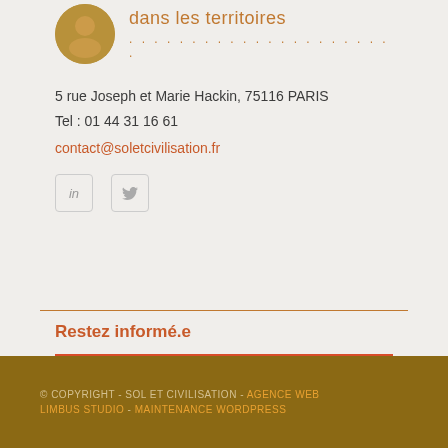[Figure (logo): Sol et Civilisation logo with circular emblem and text 'dans les territoires' with dotted line beneath]
5 rue Joseph et Marie Hackin, 75116 PARIS
Tel : 01 44 31 16 61
contact@soletcivilisation.fr
[Figure (other): Social media icons for LinkedIn and Twitter]
Restez informé.e
Abonnez-vous à notre newsletter
© COPYRIGHT - SOL ET CIVILISATION - AGENCE WEB LIMBUS STUDIO - MAINTENANCE WORDPRESS